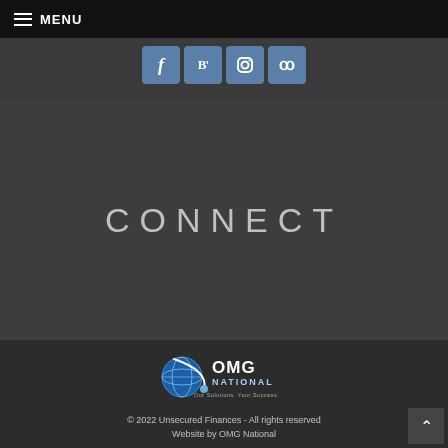≡ MENU
[Figure (other): Social media icon buttons: Facebook (f), Bloglovin (B'), Instagram, Yelp]
CONNECT
[Figure (logo): OMG National logo — globe graphic with 'OMG NATIONAL' text and tagline 'Our Solutions. Your Success.']
© 2022 Unsecured Finances - All rights reserved
Website by OMG National